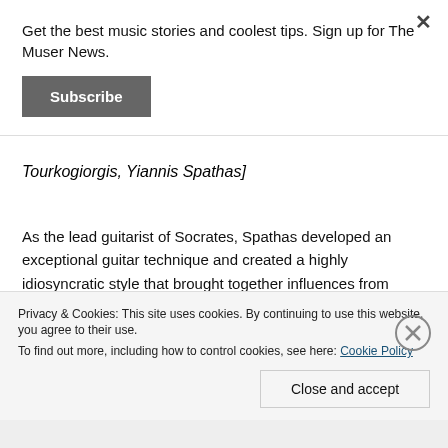Get the best music stories and coolest tips. Sign up for The Muser News.
Subscribe
Tourkogiorgis, Yiannis Spathas]
As the lead guitarist of Socrates, Spathas developed an exceptional guitar technique and created a highly idiosyncratic style that brought together influences from artists like Jimi Hendrix, Ten Years After, John Mayall as well as traditional Greek music, which proved a deep and enduring influence on Spathas.
Privacy & Cookies: This site uses cookies. By continuing to use this website, you agree to their use. To find out more, including how to control cookies, see here: Cookie Policy
Close and accept